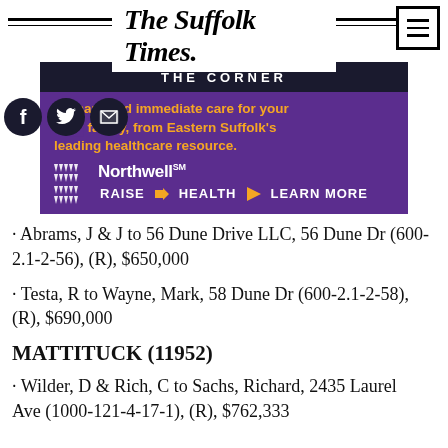The Suffolk Times.
[Figure (advertisement): Northwell Health advertisement with purple background. Text: Primary and immediate care for your whole family, from Eastern Suffolk's leading healthcare resource. Northwell RAISE HEALTH LEARN MORE]
Abrams, J & J to 56 Dune Drive LLC, 56 Dune Dr (600-2.1-2-56), (R), $650,000
Testa, R to Wayne, Mark, 58 Dune Dr (600-2.1-2-58), (R), $690,000
MATTITUCK (11952)
Wilder, D & Rich, C to Sachs, Richard, 2435 Laurel Ave (1000-121-4-17-1), (R), $762,333